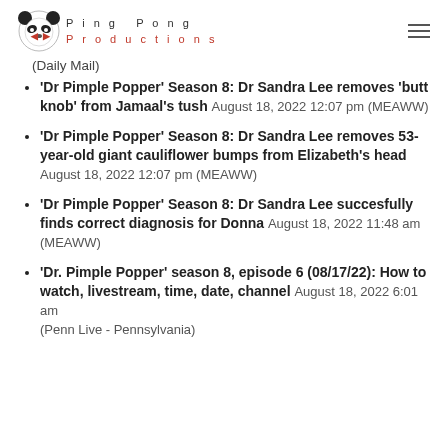Ping Pong Productions
(Daily Mail)
'Dr Pimple Popper' Season 8: Dr Sandra Lee removes 'butt knob' from Jamaal's tush August 18, 2022 12:07 pm (MEAWW)
'Dr Pimple Popper' Season 8: Dr Sandra Lee removes 53-year-old giant cauliflower bumps from Elizabeth's head August 18, 2022 12:07 pm (MEAWW)
'Dr Pimple Popper' Season 8: Dr Sandra Lee succesfully finds correct diagnosis for Donna August 18, 2022 11:48 am (MEAWW)
'Dr. Pimple Popper' season 8, episode 6 (08/17/22): How to watch, livestream, time, date, channel August 18, 2022 6:01 am (Penn Live - Pennsylvania)